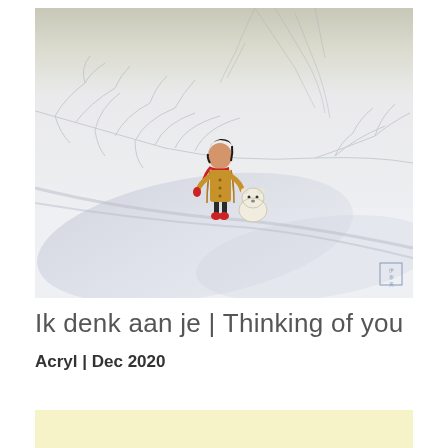[Figure (illustration): Watercolor/acrylic illustration of a girl in a yellow coat with a red scarf and red boots, holding a red item, standing next to a small white bear/dog in a snowy winter landscape with bare tree branches casting shadows on the snow. Artist seal/stamp visible in bottom right corner.]
Ik denk aan je | Thinking of you
Acryl | Dec 2020